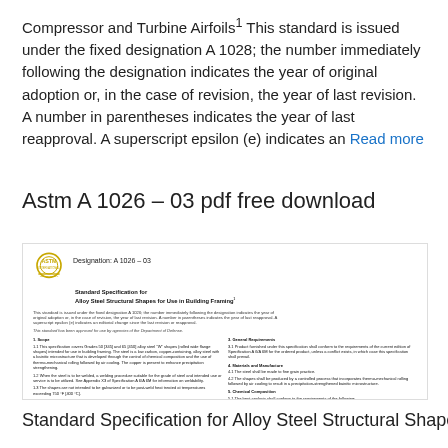Compressor and Turbine Airfoils1 This standard is issued under the fixed designation A 1028; the number immediately following the designation indicates the year of original adoption or, in the case of revision, the year of last revision. A number in parentheses indicates the year of last reapproval. A superscript epsilon (e) indicates an Read more
Astm A 1026 – 03 pdf free download
[Figure (screenshot): ASTM International document page showing Designation A 1026-03, Standard Specification for Alloy Steel Structural Shapes for Use in Building Framing, with ASTM logo, preamble text, scope sections, general requirements, materials and manufacture, and chemical composition sections.]
Standard Specification for Alloy Steel Structural Shapes